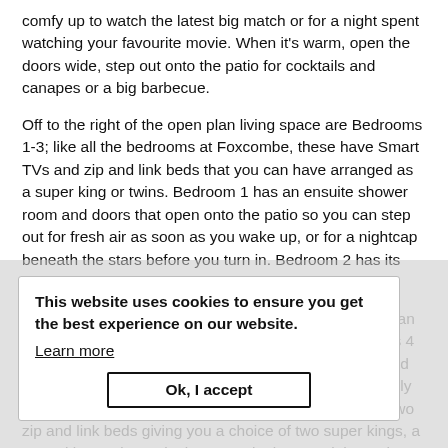comfy up to watch the latest big match or for a night spent watching your favourite movie. When it's warm, open the doors wide, step out onto the patio for cocktails and canapes or a big barbecue.
Off to the right of the open plan living space are Bedrooms 1-3; like all the bedrooms at Foxcombe, these have Smart TVs and zip and link beds that you can have arranged as a super king or twins. Bedroom 1 has an ensuite shower room and doors that open onto the patio so you can step out for fresh air as soon as you wake up, or for a nightcap beneath the stars before you turn in. Bedroom 2 has its own shower room.
Upstairs, there are three more bedrooms. Before you can play, there is a landing area where you'll find Bedrooms 4 and 5, both with ensuite bathrooms that have a bath and handheld shower. Bedroom 4 is a great room for a family to sleep in or for 4 older children sharing as there are two zip and link beds giving you a choice of two super kings, a super king and two singles, or 4 singles. Go right on the landing to Bedroom 6 which has its own shower room.
This website uses cookies to ensure you get the best experience on our website.
Learn more
Ok, I accept